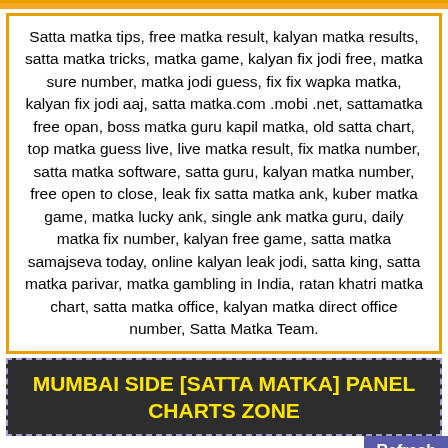Satta matka tips, free matka result, kalyan matka results, satta matka tricks, matka game, kalyan fix jodi free, matka sure number, matka jodi guess, fix fix wapka matka, kalyan fix jodi aaj, satta matka.com .mobi .net, sattamatka free opan, boss matka guru kapil matka, old satta chart, top matka guess live, live matka result, fix matka number, satta matka software, satta guru, kalyan matka number, free open to close, leak fix satta matka ank, kuber matka game, matka lucky ank, single ank matka guru, daily matka fix number, kalyan free game, satta matka samajseva today, online kalyan leak jodi, satta king, satta matka parivar, matka gambling in India, ratan khatri matka chart, satta matka office, kalyan matka direct office number, Satta Matka Team.
MUMBAI SIDE [SATTA MATKA] PANEL CHARTS ZONE
Refresh
Time Bazar Panel Chart
Call Us